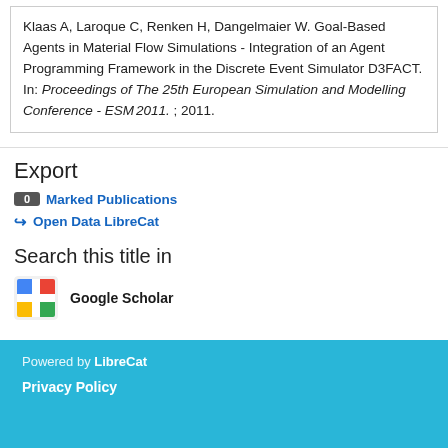Klaas A, Laroque C, Renken H, Dangelmaier W. Goal-Based Agents in Material Flow Simulations - Integration of an Agent Programming Framework in the Discrete Event Simulator D3FACT. In: Proceedings of The 25th European Simulation and Modelling Conference - ESM 2011. ; 2011.
Export
0 Marked Publications
Open Data LibreCat
Search this title in
Google Scholar
Powered by LibreCat
Privacy Policy